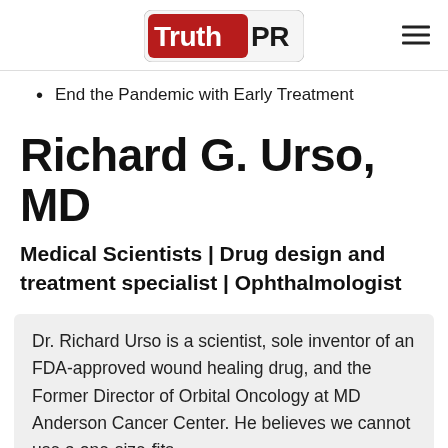TruthPR
End the Pandemic with Early Treatment
Richard G. Urso, MD
Medical Scientists | Drug design and treatment specialist | Ophthalmologist
Dr. Richard Urso is a scientist, sole inventor of an FDA-approved wound healing drug, and the Former Director of Orbital Oncology at MD Anderson Cancer Center. He believes we cannot use a one-size-fits-